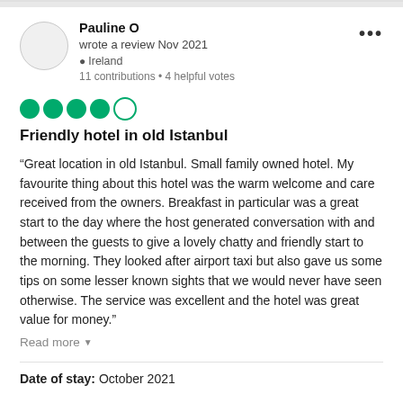Pauline O
wrote a review Nov 2021
Ireland
11 contributions • 4 helpful votes
[Figure (other): 5-circle rating: 4 filled green circles and 1 empty circle outline]
Friendly hotel in old Istanbul
“Great location in old Istanbul. Small family owned hotel. My favourite thing about this hotel was the warm welcome and care received from the owners. Breakfast in particular was a great start to the day where the host generated conversation with and between the guests to give a lovely chatty and friendly start to the morning. They looked after airport taxi but also gave us some tips on some lesser known sights that we would never have seen otherwise. The service was excellent and the hotel was great value for money.”
Read more
Date of stay: October 2021